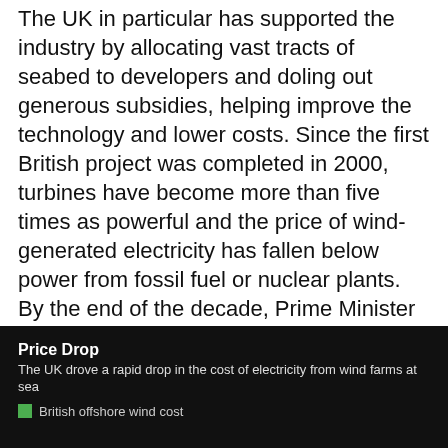The UK in particular has supported the industry by allocating vast tracts of seabed to developers and doling out generous subsidies, helping improve the technology and lower costs. Since the first British project was completed in 2000, turbines have become more than five times as powerful and the price of wind-generated electricity has fallen below power from fossil fuel or nuclear plants. By the end of the decade, Prime Minister Boris Johnson aims to boost the UK's offshore wind capacity to 50 gigawatts, more than triple the current fleet.
[Figure (other): Chart box with title 'Price Drop', subtitle 'The UK drove a rapid drop in the cost of electricity from wind farms at sea', and a legend entry with green square labeled 'British offshore wind cost'. The actual chart area is cut off at the bottom of the page.]